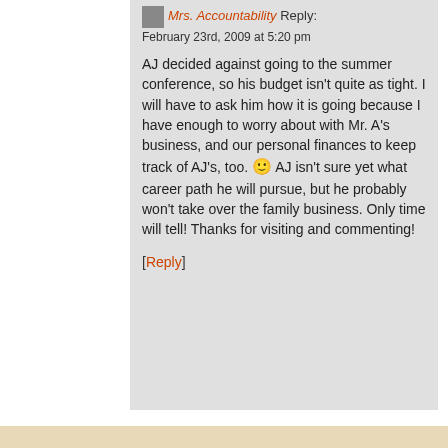Mrs. Accountability Reply:
February 23rd, 2009 at 5:20 pm
AJ decided against going to the summer conference, so his budget isn't quite as tight. I will have to ask him how it is going because I have enough to worry about with Mr. A's business, and our personal finances to keep track of AJ's, too. 🙂 AJ isn't sure yet what career path he will pursue, but he probably won't take over the family business. Only time will tell! Thanks for visiting and commenting!
[Reply]